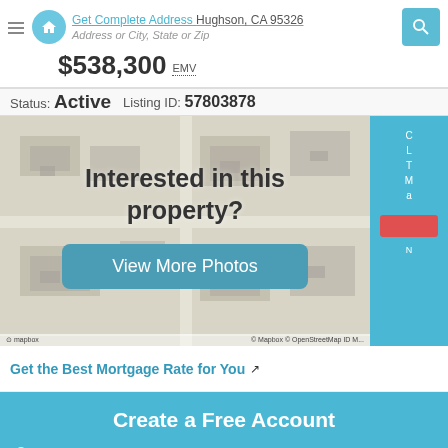Get Complete Address Hughson, CA 95326 | Address or City, State or Zip | $538,300 EMV
Status: Active   Listing ID: 57803878
[Figure (map): Aerial satellite map view of property location in Hughson, CA with overlay showing 'Interested in this property?' and 'View More Photos' button. Mapbox and OpenStreetMap attribution visible.]
Get the Best Mortgage Rate for You
Create a Free Account
First Name   Last Name